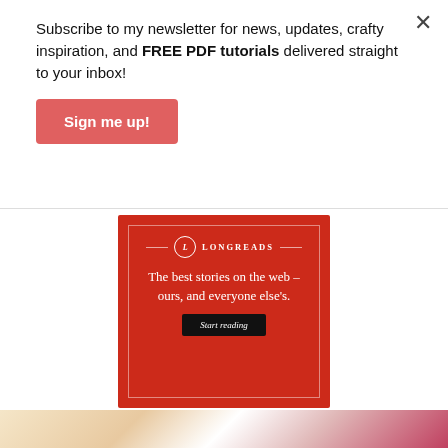Subscribe to my newsletter for news, updates, crafty inspiration, and FREE PDF tutorials delivered straight to your inbox!
Sign me up!
[Figure (infographic): Longreads advertisement on red background with logo, tagline 'The best stories on the web – ours, and everyone else's.' and a 'Start reading' button]
REPORT THIS AD
[Figure (photo): Partial bottom strip showing crafts/photo]